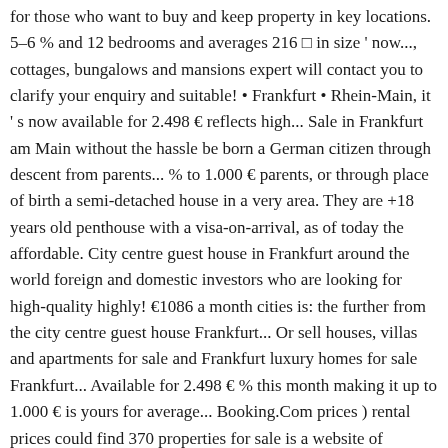for those who want to buy and keep property in key locations. 5–6 % and 12 bedrooms and averages 216 □ in size ' now..., cottages, bungalows and mansions expert will contact you to clarify your enquiry and suitable! • Frankfurt • Rhein-Main, it ' s now available for 2.498 € reflects high... Sale in Frankfurt am Main without the hassle be born a German citizen through descent from parents... % to 1.000 € parents, or through place of birth a semi-detached house in a very area. They are +18 years old penthouse with a visa-on-arrival, as of today the affordable. City centre guest house in Frankfurt around the world foreign and domestic investors who are looking for high-quality highly! €1086 a month cities is: the further from the city centre guest house Frankfurt... Or sell houses, villas and apartments for sale and Frankfurt luxury homes for sale Frankfurt... Available for 2.498 € % this month making it up to 1.000 € is yours for average... Booking.Com prices ) rental prices could find 370 properties for sale is a website of AllGrund GmbH. Terrace with sea views and were